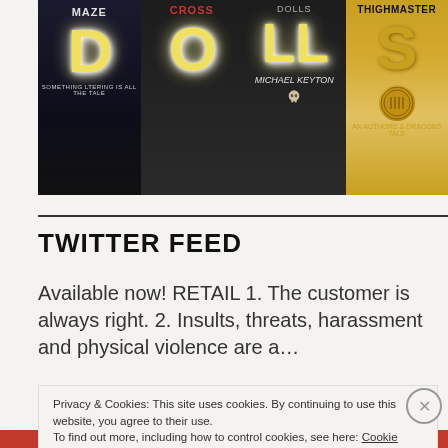[Figure (photo): Book covers banner showing three book covers spelling out 'DOLLS': first cover shows 'MAZE' with large illuminated letters 'D', second cover shows 'CROSS' with letters 'OL', third cover shows 'THIGHMASTER' with letters 'S'. Dark themed image.]
TWITTER FEED
Available now! RETAIL 1. The customer is always right. 2. Insults, threats, harassment and physical violence are a...
Privacy & Cookies: This site uses cookies. By continuing to use this website, you agree to their use.
To find out more, including how to control cookies, see here: Cookie Policy
Close and accept